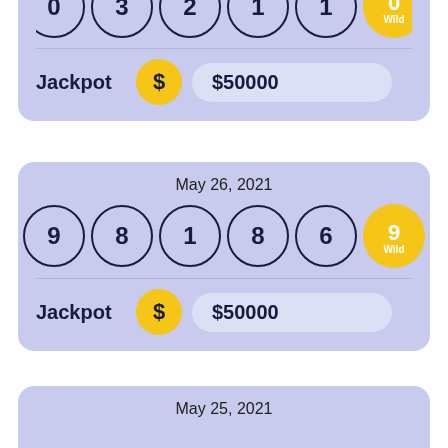[Figure (other): Partial lottery card (top) showing balls partially visible at top, a horizontal separator, a Jackpot label with a dollar coin and $50000 amount bar.]
[Figure (other): Lottery draw card for May 26, 2021 showing balls: 9, 8, 1, 8, 6, and Wild 9. Jackpot: $50000.]
[Figure (other): Partial lottery card (bottom) showing date May 25, 2021 beginning to appear.]